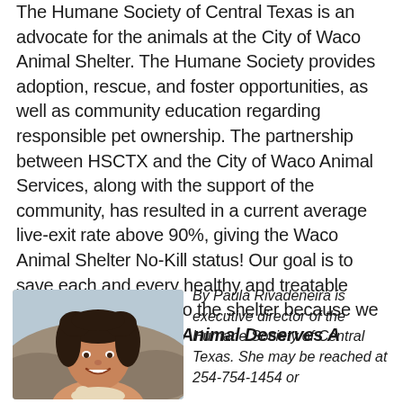The Humane Society of Central Texas is an advocate for the animals at the City of Waco Animal Shelter. The Humane Society provides adoption, rescue, and foster opportunities, as well as community education regarding responsible pet ownership. The partnership between HSCTX and the City of Waco Animal Services, along with the support of the community, has resulted in a current average live-exit rate above 90%, giving the Waco Animal Shelter No-Kill status! Our goal is to save each and every healthy and treatable animal that comes into the shelter because we believe Every Waco Animal Deserves A Chance!
[Figure (photo): Headshot photo of Paula Rivadeneira, a woman with curly dark hair, smiling, with a light-colored animal visible at the bottom of the frame, outdoors with a rocky background.]
By Paula Rivadeneira is executive director of the Humane Society of Central Texas. She may be reached at 254-754-1454 or